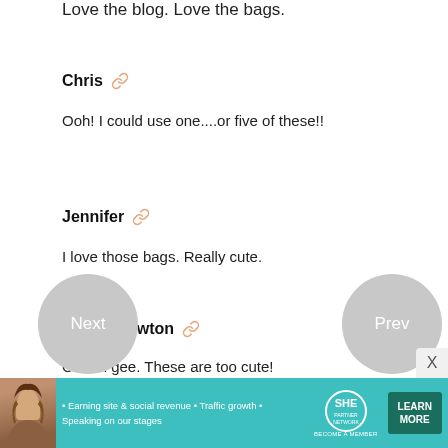Love the blog. Love the bags.
Chris
Ooh! I could use one....or five of these!!
Jennifer
I love those bags. Really cute.
Cheryl Newton
Oh em gee. These are too cute!
[Figure (other): Navigation circles: Next (left) and Prev (right)]
[Figure (other): Advertisement banner for SHE Partner Network featuring a woman, bullet points about Earning site & social revenue, Traffic growth, Speaking on our stages, and a LEARN MORE button]